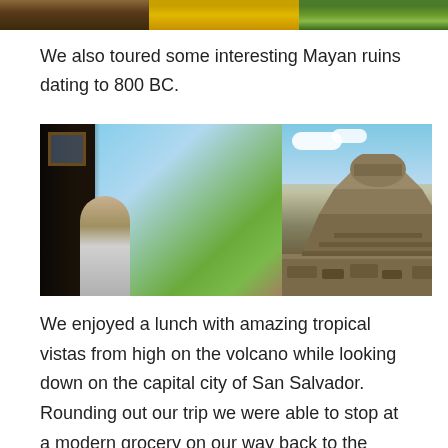[Figure (photo): Three cropped travel photos at the top of the page showing (left) foliage/ruins, (center) yellow plate/food, (right) tropical garden with pink flowers]
We also toured some interesting Mayan ruins dating to 800 BC.
[Figure (photo): Two side-by-side photos of Mayan ruins. Left photo shows a person looking out from a dark doorway toward ruins and palm trees. Right photo shows a stone pyramid structure against a blue sky.]
We enjoyed a lunch with amazing tropical vistas from high on the volcano while looking down on the capital city of San Salvador. Rounding out our trip we were able to stop at a modern grocery on our way back to the marina and purchase some much needed staples (and cravings) that had been very difficult to find in Mexico (i.e. Goldfish